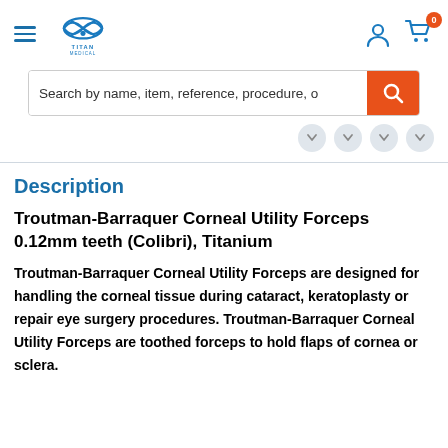[Figure (logo): Titan Medical logo with blue fish/eye symbol and text TITAN MEDICAL below]
Search by name, item, reference, procedure, o
Description
Troutman-Barraquer Corneal Utility Forceps 0.12mm teeth (Colibri), Titanium
Troutman-Barraquer Corneal Utility Forceps are designed for handling the corneal tissue during cataract, keratoplasty or repair eye surgery procedures. Troutman-Barraquer Corneal Utility Forceps are toothed forceps to hold flaps of cornea or sclera.